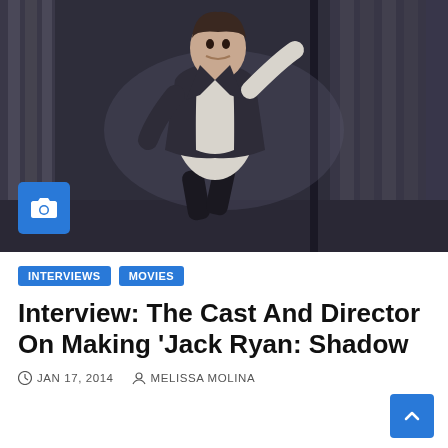[Figure (photo): A man in a white dress shirt and dark jacket running through an urban night scene, looking alarmed, with large stone building columns in the background. A blue camera badge icon is overlaid in the lower left of the image.]
INTERVIEWS   MOVIES
Interview: The Cast And Director On Making ‘Jack Ryan: Shadow
JAN 17, 2014   MELISSA MOLINA